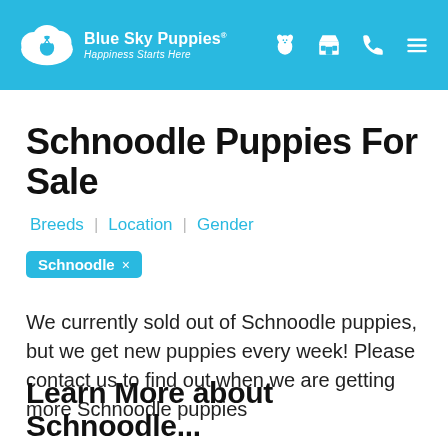Blue Sky Puppies® Happiness Starts Here
Schnoodle Puppies For Sale
Breeds | Location | Gender
Schnoodle ×
We currently sold out of Schnoodle puppies, but we get new puppies every week! Please contact us to find out when we are getting more Schnoodle puppies
Learn More about Schnoodle...